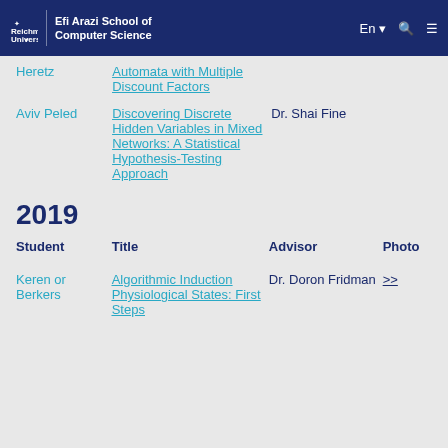Reichman University | Efi Arazi School of Computer Science
Heretz
Automata with Multiple Discount Factors
Aviv Peled
Discovering Discrete Hidden Variables in Mixed Networks: A Statistical Hypothesis-Testing Approach
Dr. Shai Fine
2019
| Student | Title | Advisor | Photo |
| --- | --- | --- | --- |
| Keren or Berkers | Algorithmic Induction Physiological States: First Steps | Dr. Doron Fridman | >> |
Keren or Berkers
Algorithmic Induction Physiological States: First Steps
Dr. Doron Fridman
>>